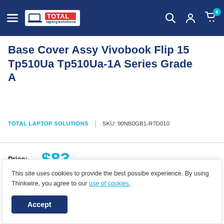Total Laptop Solutions - Navigation header with logo, search, account, and cart icons
Base Cover Assy Vivobook Flip 15 Tp510Ua Tp510Ua-1A Series Grade A
TOTAL LAPTOP SOLUTIONS | SKU: 90NB0GB1-R7D010
Price: $83 Shipping calculated at checkout
This site uses cookies to provide the best possibe experience. By using Thinkwire, you agree to our use of cookies.